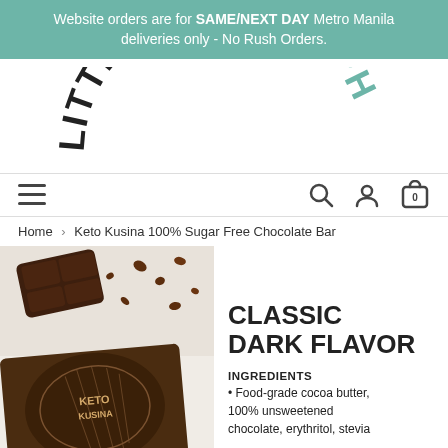Website orders are for SAME/NEXT DAY Metro Manila deliveries only - No Rush Orders.
[Figure (logo): LittleRetailPH arched logo text in black and teal]
[Figure (other): Navigation bar with hamburger menu on left and search, account, and cart (0) icons on right]
Home > Keto Kusina 100% Sugar Free Chocolate Bar
[Figure (photo): Photo of dark chocolate bars and Keto Kusina branded chocolate packaging with cacao pod illustration]
CLASSIC DARK FLAVOR
INGREDIENTS
• Food-grade cocoa butter, 100% unsweetened chocolate, erythritol, stevia